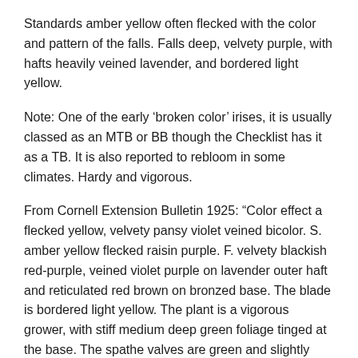Standards amber yellow often flecked with the color and pattern of the falls. Falls deep, velvety purple, with hafts heavily veined lavender, and bordered light yellow.
Note: One of the early ‘broken color’ irises, it is usually classed as an MTB or BB though the Checklist has it as a TB. It is also reported to rebloom in some climates. Hardy and vigorous.
From Cornell Extension Bulletin 1925: “Color effect a flecked yellow, velvety pansy violet veined bicolor. S. amber yellow flecked raisin purple. F. velvety blackish red-purple, veined violet purple on lavender outer haft and reticulated red brown on bronzed base. The blade is bordered light yellow. The plant is a vigorous grower, with stiff medium deep green foliage tinged at the base. The spathe valves are green and slightly keeled. The flowers are borne on widely branched stalks, and the segments of the bloom expand so that the general effect is that of a short open bloom with cup formed